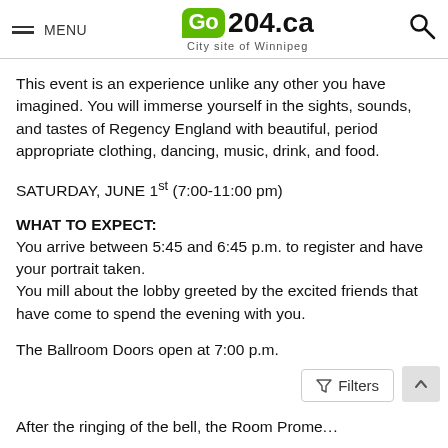MENU | Go204.ca City site of Winnipeg
This event is an experience unlike any other you have imagined. You will immerse yourself in the sights, sounds, and tastes of Regency England with beautiful, period appropriate clothing, dancing, music, drink, and food.
SATURDAY, JUNE 1st (7:00-11:00 pm)
WHAT TO EXPECT:
You arrive between 5:45 and 6:45 p.m. to register and have your portrait taken.
You mill about the lobby greeted by the excited friends that have come to spend the evening with you.
The Ballroom Doors open at 7:00 p.m.
After the ringing of the bell, the Room Promenade